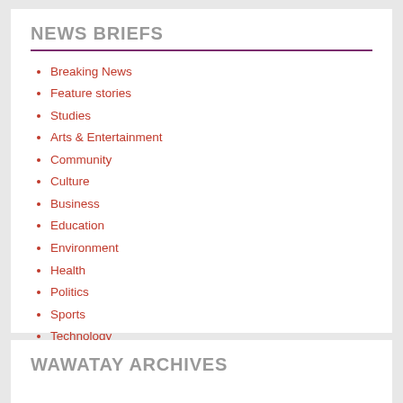NEWS BRIEFS
Breaking News
Feature stories
Studies
Arts & Entertainment
Community
Culture
Business
Education
Environment
Health
Politics
Sports
Technology
WAWATAY ARCHIVES